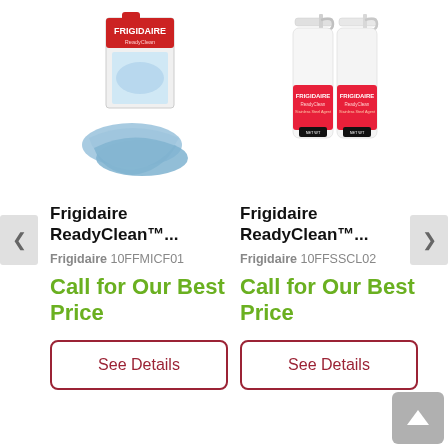[Figure (photo): Frigidaire ReadyClean microfiber cloth product in packaging with blue cloth displayed]
[Figure (photo): Frigidaire ReadyClean stainless steel cleaner spray bottles (2 pack)]
Frigidaire ReadyClean™...
Frigidaire 10FFMICF01
Call for Our Best Price
See Details
Frigidaire ReadyClean™...
Frigidaire 10FFSSCL02
Call for Our Best Price
See Details